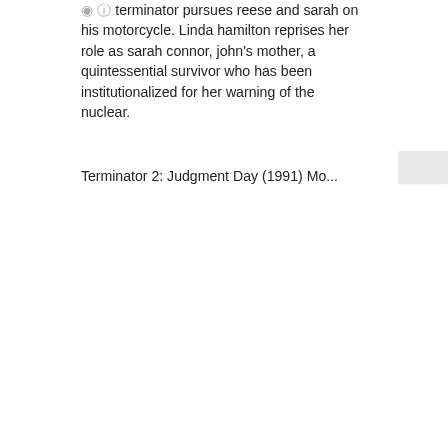terminator pursues reese and sarah on his motorcycle. Linda hamilton reprises her role as sarah connor, john's mother, a quintessential survivor who has been institutionalized for her warning of the nuclear.
Terminator 2: Judgment Day (1991) Mo...